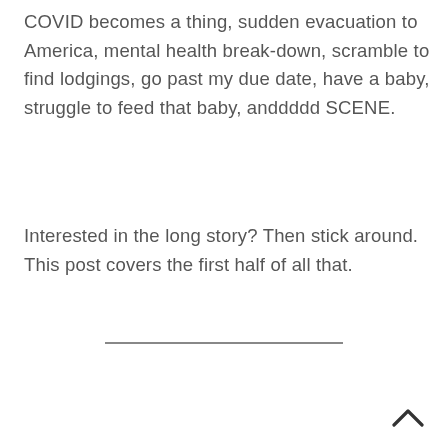COVID becomes a thing, sudden evacuation to America, mental health break-down, scramble to find lodgings, go past my due date, have a baby, struggle to feed that baby, anddddd SCENE.
Interested in the long story? Then stick around. This post covers the first half of all that.